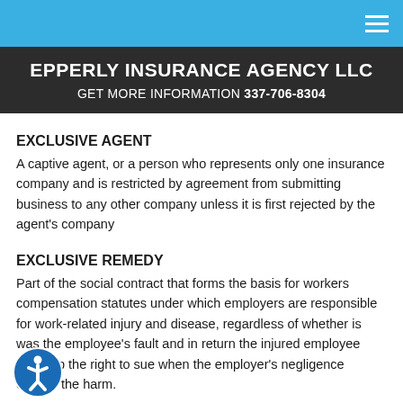EPPERLY INSURANCE AGENCY LLC
GET MORE INFORMATION 337-706-8304
EXCLUSIVE AGENT
A captive agent, or a person who represents only one insurance company and is restricted by agreement from submitting business to any other company unless it is first rejected by the agent's company
EXCLUSIVE REMEDY
Part of the social contract that forms the basis for workers compensation statutes under which employers are responsible for work-related injury and disease, regardless of whether is was the employee's fault and in return the injured employee gives up the right to sue when the employer's negligence causes the harm.